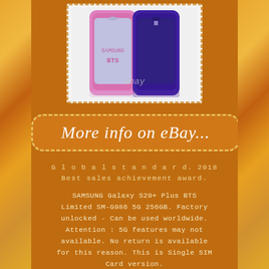[Figure (photo): Two Samsung Galaxy S20+ BTS Limited Edition phones side by side — one pink and one purple/dark purple with BTS logo on back, shown against white background with eBay watermark]
[Figure (other): Orange rounded rectangle button with dashed border containing cursive text 'More info on eBay...']
G l o b a l s t a n d a r d. 2018 Best sales achievement award.
SAMSUNG Galaxy S20+ Plus BTS Limited SM-G986 5G 256GB. Factory unlocked - Can be used worldwide. Attention : 5G features may not available. No return is available for this reason. This is Single SIM Card version.